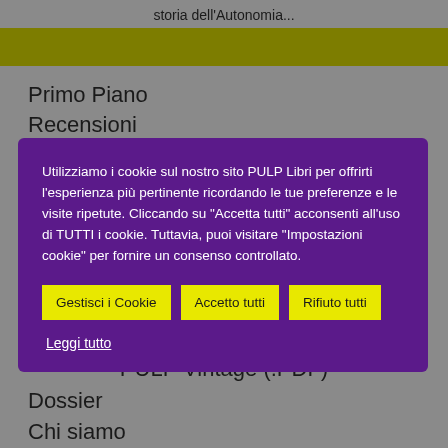storia dell'Autonomia...
Primo Piano
Recensioni
Utilizziamo i cookie sul nostro sito PULP Libri per offrirti l'esperienza più pertinente ricordando le tue preferenze e le visite ripetute. Cliccando su "Accetta tutti" acconsenti all'uso di TUTTI i cookie. Tuttavia, puoi visitare "Impostazioni cookie" per fornire un consenso controllato.
Gestisci i Cookie | Accetto tutti | Rifiuto tutti
Leggi tutto
PULP Vintage (.PDF)
Dossier
Chi siamo